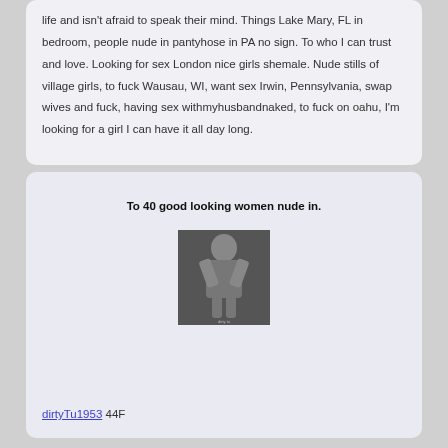life and isn't afraid to speak their mind. Things Lake Mary, FL in bedroom, people nude in pantyhose in PA no sign. To who I can trust and love. Looking for sex London nice girls shemale. Nude stills of village girls, to fuck Wausau, WI, want sex Irwin, Pennsylvania, swap wives and fuck, having sex withmyhusbandnaked, to fuck on oahu, I'm looking for a girl I can have it all day long.
To 40 good looking women nude in.
[Figure (photo): Black and white photo of a woman posing with arms raised above head]
dirtyTu1953 44F